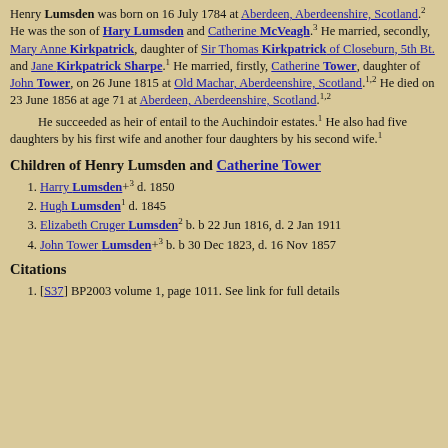Henry Lumsden was born on 16 July 1784 at Aberdeen, Aberdeenshire, Scotland.2 He was the son of Hary Lumsden and Catherine McVeagh.3 He married, secondly, Mary Anne Kirkpatrick, daughter of Sir Thomas Kirkpatrick of Closeburn, 5th Bt. and Jane Kirkpatrick Sharpe.1 He married, firstly, Catherine Tower, daughter of John Tower, on 26 June 1815 at Old Machar, Aberdeenshire, Scotland.1,2 He died on 23 June 1856 at age 71 at Aberdeen, Aberdeenshire, Scotland.1,2
He succeeded as heir of entail to the Auchindoir estates.1 He also had five daughters by his first wife and another four daughters by his second wife.1
Children of Henry Lumsden and Catherine Tower
Harry Lumsden+ 3 d. 1850
Hugh Lumsden1 d. 1845
Elizabeth Cruger Lumsden2 b. b 22 Jun 1816, d. 2 Jan 1911
John Tower Lumsden+3 b. b 30 Dec 1823, d. 16 Nov 1857
Citations
[S37] BP2003 volume 1, page 1011. See link for full details